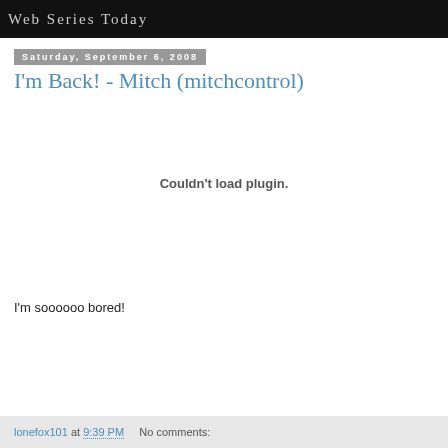Web Series Today
Saturday, September 6, 2008
I'm Back! - Mitch (mitchcontrol)
[Figure (other): Embedded video plugin area showing 'Couldn't load plugin.' error message]
I'm soooooo bored!
lonefox101 at 9:39 PM   No comments: